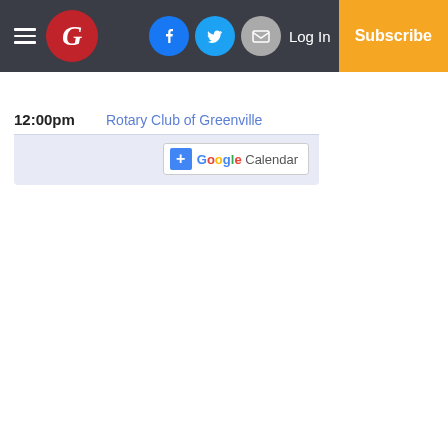Greenville Gazette navigation bar with hamburger menu, G logo, Facebook, Twitter, Email icons, Log In, Subscribe
12:00pm  Rotary Club of Greenville
[Figure (screenshot): Google Calendar add button with colored Google logo text and 'Calendar' label]